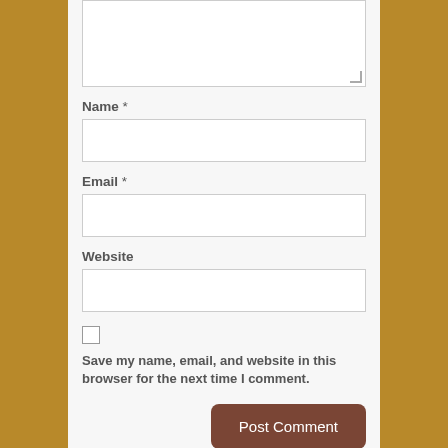[textarea stub]
Name *
[name input]
Email *
[email input]
Website
[website input]
Save my name, email, and website in this browser for the next time I comment.
Post Comment